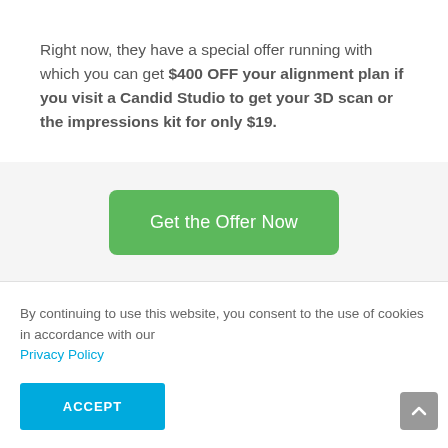Right now, they have a special offer running with which you can get $400 OFF your alignment plan if you visit a Candid Studio to get your 3D scan or the impressions kit for only $19.
[Figure (other): Green 'Get the Offer Now' call-to-action button on a light grey background]
By continuing to use this website, you consent to the use of cookies in accordance with our Privacy Policy
[Figure (other): Blue 'ACCEPT' button for cookie consent]